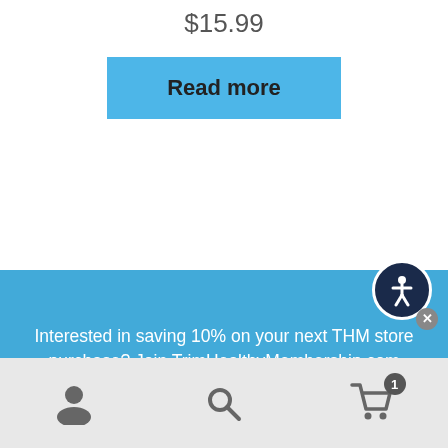$15.99
Read more
Interested in saving 10% on your next THM store purchase? Join TrimHealthyMembership.com TODAY. Current members receive a 10% discount on eligible purchases.
Already a member? Log In to enjoy your discount now.
[Figure (other): Bottom navigation bar with user account icon, search icon, and shopping cart icon with badge showing 1 item]